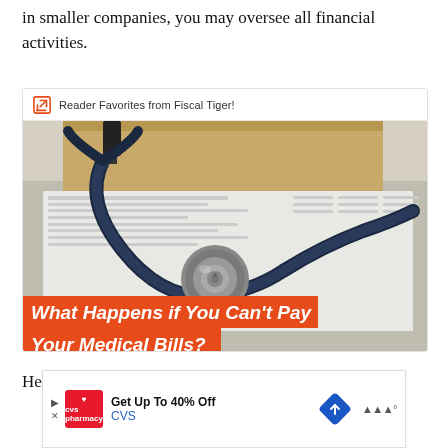in smaller companies, you may oversee all financial activities.
[Figure (photo): A stethoscope resting on medical paperwork and documents in a manila folder. An orange banner overlay reads: What Happens if You Can't Pay Your Medical Bills?]
Here is a closer look at many of the most-common du...
[Figure (infographic): CVS Pharmacy advertisement banner: Get Up To 40% Off CVS]